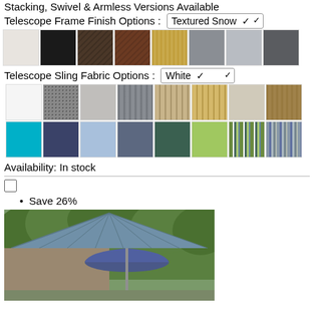Stacking, Swivel & Armless Versions Available
Telescope Frame Finish Options : Textured Snow
[Figure (other): Grid of 8 frame finish color swatches: white/snow, black, dark brown, medium brown, gold/tan, silver-gray, light gray, dark gray]
Telescope Sling Fabric Options : White
[Figure (other): Grid of 16 sling fabric swatches: white, dotted gray, light gray, slate gray, tan stripe, tan/gold stripe, beige, brown; plus teal, dark blue, light blue, steel blue, dark green, lime green, green/white stripe, blue/gray stripe]
Availability: In stock
[Figure (other): Checkbox (empty)]
Save 26%
[Figure (photo): Outdoor patio setting showing a large blue market umbrella open near a gazebo structure with metal roof, surrounded by trees]